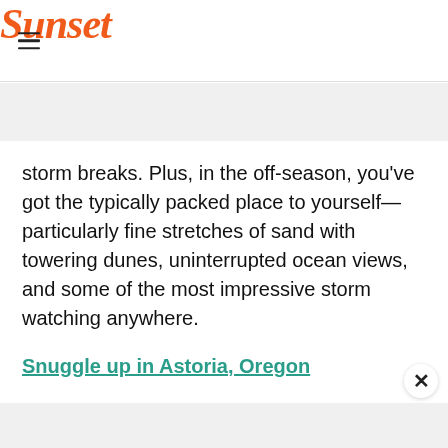Sunset
storm breaks. Plus, in the off-season, you've got the typically packed place to yourself—particularly fine stretches of sand with towering dunes, uninterrupted ocean views, and some of the most impressive storm watching anywhere.
Snuggle up in Astoria, Oregon